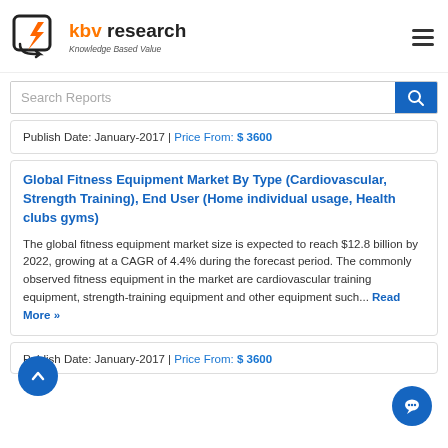[Figure (logo): KBV Research logo with orange lightning bolt and arrow icon, text 'kbv research Knowledge Based Value']
Search Reports
Publish Date: January-2017 | Price From: $ 3600
Global Fitness Equipment Market By Type (Cardiovascular, Strength Training), End User (Home individual usage, Health clubs gyms)
The global fitness equipment market size is expected to reach $12.8 billion by 2022, growing at a CAGR of 4.4% during the forecast period. The commonly observed fitness equipment in the market are cardiovascular training equipment, strength-training equipment and other equipment such... Read More »
Publish Date: January-2017 | Price From: $ 3600